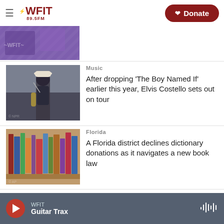WFIT 89.5FM | Donate
[Figure (photo): Partial banner image with purple background, partially cropped at top]
[Figure (photo): Musician performing outdoors wearing white hat and dark jacket, with saxophone]
Music
After dropping 'The Boy Named If' earlier this year, Elvis Costello sets out on tour
[Figure (photo): Library bookshelf with colorful books]
Florida
A Florida district declines dictionary donations as it navigates a new book law
WFIT
Guitar Trax